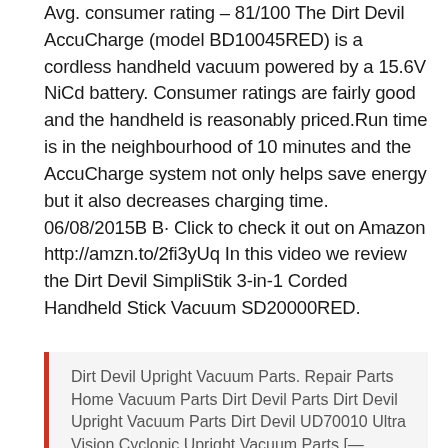Avg. consumer rating – 81/100 The Dirt Devil AccuCharge (model BD10045RED) is a cordless handheld vacuum powered by a 15.6V NiCd battery. Consumer ratings are fairly good and the handheld is reasonably priced.Run time is in the neighbourhood of 10 minutes and the AccuCharge system not only helps save energy but it also decreases charging time. 06/08/2015B B· Click to check it out on Amazon http://amzn.to/2fi3yUq In this video we review the Dirt Devil SimpliStik 3-in-1 Corded Handheld Stick Vacuum SD20000RED.
Dirt Devil Upright Vacuum Parts. Repair Parts Home Vacuum Parts Dirt Devil Parts Dirt Devil Upright Vacuum Parts Dirt Devil UD70010 Ultra Vision Cyclonic Upright Vacuum Parts [— Continue